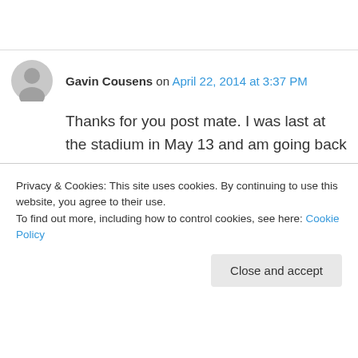Gavin Cousens on April 22, 2014 at 3:37 PM
Thanks for you post mate. I was last at the stadium in May 13 and am going back to Bangkok with a group of friends in May this year and have been talking up the old stadium up for months now, so devastating…….Tripadvsior still has the old location on its map so very glad I
Privacy & Cookies: This site uses cookies. By continuing to use this website, you agree to their use. To find out more, including how to control cookies, see here: Cookie Policy
Close and accept
Gavin